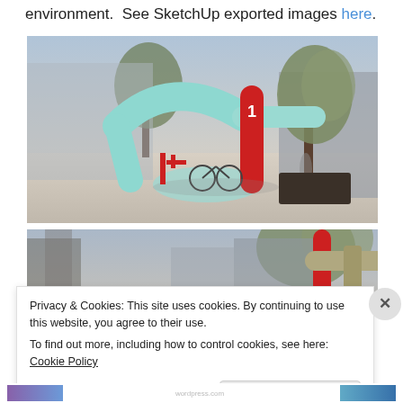environment.  See SketchUp exported images here.
[Figure (photo): 3D rendered scene showing inflatable arch structures in light blue/teal with a red cylindrical post marked with number 1, bicycles visible, trees and pedestrians in an urban environment. SketchUp rendered image.]
[Figure (photo): 3D rendered scene showing a closer view of red and tan/olive colored cylindrical and curved structures, with trees in background. SketchUp rendered image.]
Privacy & Cookies: This site uses cookies. By continuing to use this website, you agree to their use.
To find out more, including how to control cookies, see here: Cookie Policy